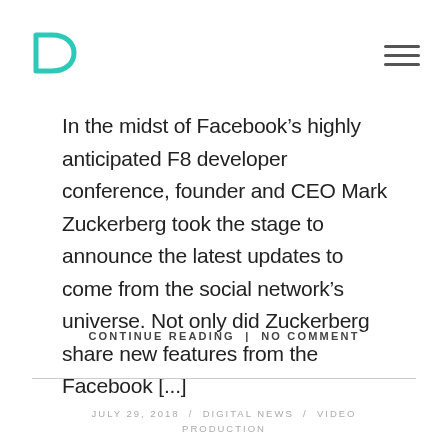[Logo: teal D-shape icon] [Hamburger menu icon]
In the midst of Facebook’s highly anticipated F8 developer conference, founder and CEO Mark Zuckerberg took the stage to announce the latest updates to come from the social network’s universe. Not only did Zuckerberg share new features from the Facebook […]
CONTINUE READING | NO COMMENT
JULY 29, 2018 / DIGITAL NEWS / VIDEO PRODUCTION